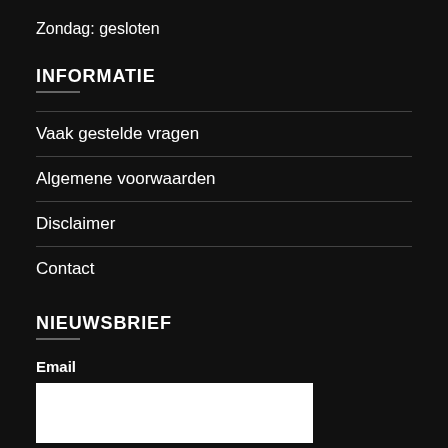Zondag: gesloten
INFORMATIE
Vaak gestelde vragen
Algemene voorwaarden
Disclaimer
Contact
NIEUWSBRIEF
Email
[email input field]